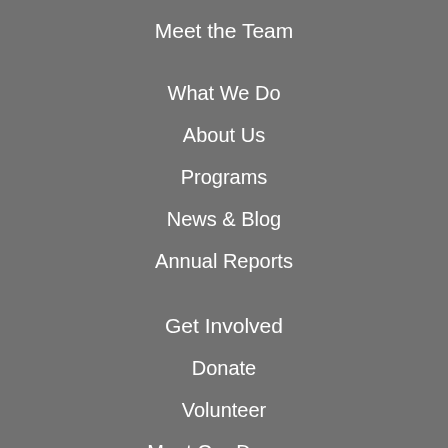Meet the Team
What We Do
About Us
Programs
News & Blog
Annual Reports
Get Involved
Donate
Volunteer
Meet Our Donors